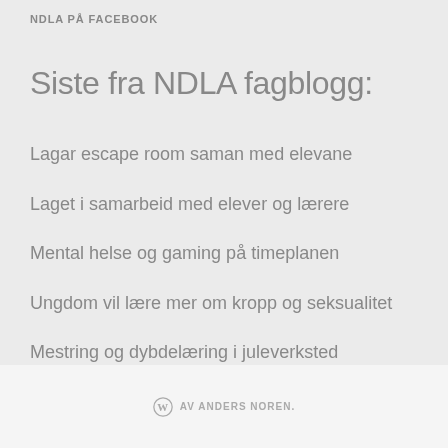NDLA PÅ FACEBOOK
Siste fra NDLA fagblogg:
Lagar escape room saman med elevane
Laget i samarbeid med elever og lærere
Mental helse og gaming på timeplanen
Ungdom vil lære mer om kropp og seksualitet
Mestring og dybdelæring i juleverksted
AV ANDERS NOREN.